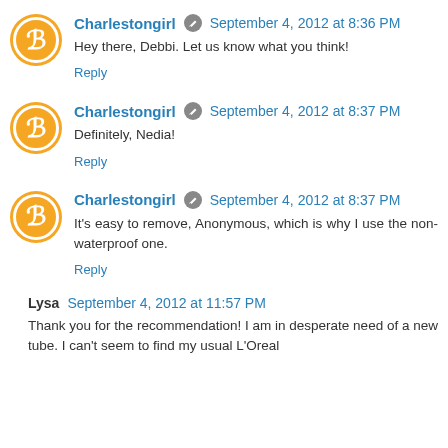Charlestongirl · September 4, 2012 at 8:36 PM
Hey there, Debbi. Let us know what you think!
Reply
Charlestongirl · September 4, 2012 at 8:37 PM
Definitely, Nedia!
Reply
Charlestongirl · September 4, 2012 at 8:37 PM
It's easy to remove, Anonymous, which is why I use the non-waterproof one.
Reply
Lysa September 4, 2012 at 11:57 PM
Thank you for the recommendation! I am in desperate need of a new tube. I can't seem to find my usual L'Oreal